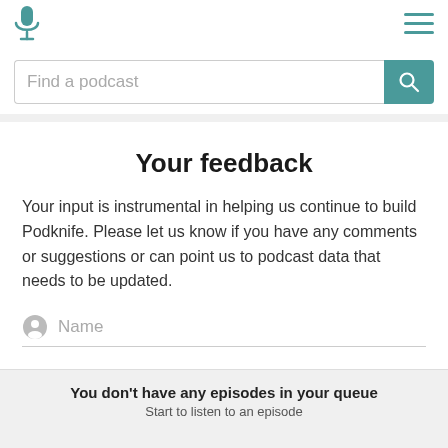[Figure (logo): Teal microphone icon in top-left navigation bar]
[Figure (other): Hamburger menu icon (three teal horizontal lines) in top-right navigation bar]
Find a podcast
Your feedback
Your input is instrumental in helping us continue to build Podknife. Please let us know if you have any comments or suggestions or can point us to podcast data that needs to be updated.
Name
You don't have any episodes in your queue
Start to listen to an episode